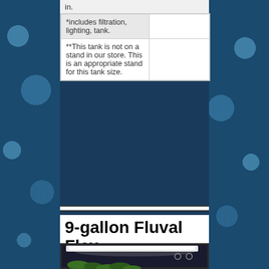in.
| *includes filtration, lighting, tank. |  |
| **This tank is not on a stand in our store. This is an appropriate stand for this tank size. |  |
9-gallon Fluval Flex
[Figure (photo): Photo of a 9-gallon Fluval Flex aquarium with LED lighting visible at the top and green aquatic plants inside]